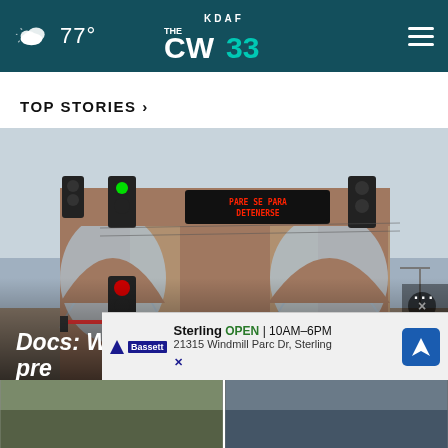77° KDAF CW 33
TOP STORIES ›
[Figure (photo): A border crossing or train station structure with brick arches, traffic signals (green light visible at top, red light below), and an LED sign reading 'PARE SE PARA DETENERSE'. Foggy or overcast sky in background.]
Docs: Woman claiming to be pre...
[Figure (screenshot): Advertisement banner for Bassett Sterling showing 'Sterling OPEN 10AM-6PM 21315 Windmill Parc Dr, Sterling' with navigation icon and close/X button.]
[Figure (photo): Two partial thumbnail photos at the bottom of the page, cut off.]